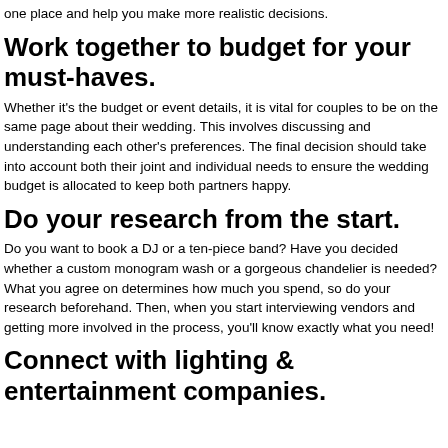one place and help you make more realistic decisions.
Work together to budget for your must-haves.
Whether it's the budget or event details, it is vital for couples to be on the same page about their wedding. This involves discussing and understanding each other's preferences. The final decision should take into account both their joint and individual needs to ensure the wedding budget is allocated to keep both partners happy.
Do your research from the start.
Do you want to book a DJ or a ten-piece band? Have you decided whether a custom monogram wash or a gorgeous chandelier is needed? What you agree on determines how much you spend, so do your research beforehand. Then, when you start interviewing vendors and getting more involved in the process, you'll know exactly what you need!
Connect with lighting & entertainment companies.